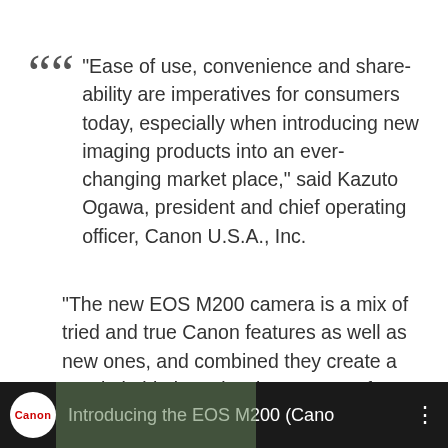“Ease of use, convenience and share-ability are imperatives for consumers today, especially when introducing new imaging products into an ever-changing market place,” said Kazuto Ogawa, president and chief operating officer, Canon U.S.A., Inc.
“The new EOS M200 camera is a mix of tried and true Canon features as well as new ones, and combined they create a non-intimidating mirrorless camera for the experienced photographer – yet it is approachable for someone beginning their visual storytelling journey.”
[Figure (screenshot): Dark video thumbnail bar showing Canon logo in white circle and partial title text 'Introducing the EOS M200 (Cano...' with three-dot menu icon]